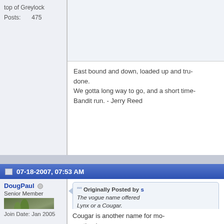top of Greylock
Posts: 475
East bound and down, loaded up and tru- done. We gotta long way to go, and a short time- Bandit run. - Jerry Reed
07-18-2007, 07:53 AM
DougPaul
Senior Member
[Figure (photo): Avatar photo of an alligator or similar reptile resting near water with vegetation]
Join Date: Jan 2005
Location: Bedford, MA; Avatar: eggs anyone?
Posts: 10,706
Originally Posted by s
The vogue name offered Lynx or a Cougar.
Cougar is another name for mo- panther.)
Lynx is a distinct species.
Doug
07-18-2007, 08:42 AM